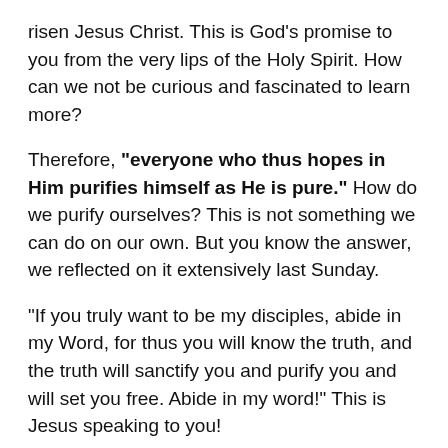risen Jesus Christ. This is God's promise to you from the very lips of the Holy Spirit. How can we not be curious and fascinated to learn more?
Therefore, "everyone who thus hopes in Him purifies himself as He is pure." How do we purify ourselves? This is not something we can do on our own. But you know the answer, we reflected on it extensively last Sunday.
"If you truly want to be my disciples, abide in my Word, for thus you will know the truth, and the truth will sanctify you and purify you and will set you free. Abide in my word!" This is Jesus speaking to you!
If you have been tricked to focus too much on this world instead of the world where we truly belong, if the evil one has bewitched you to be apathetic to Jesus speaking to